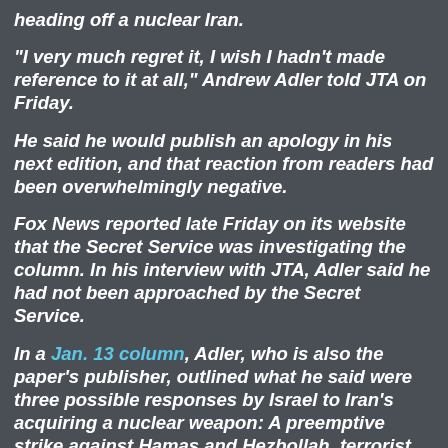heading off a nuclear Iran.
"I very much regret it, I wish I hadn't made reference to it at all," Andrew Adler told JTA on Friday.
He said he would publish an apology in his next edition, and that reaction from readers had been overwhelmingly negative.
Fox News reported late Friday on its website that the Secret Service was investigating the column. In his interview with JTA, Adler said he had not been approached by the Secret Service.
In a Jan. 13 column, Adler, who is also the paper's publisher, outlined what he said were three possible responses by Israel to Iran's acquiring a nuclear weapon: A preemptive strike against Hamas and Hezbollah, terrorist groups